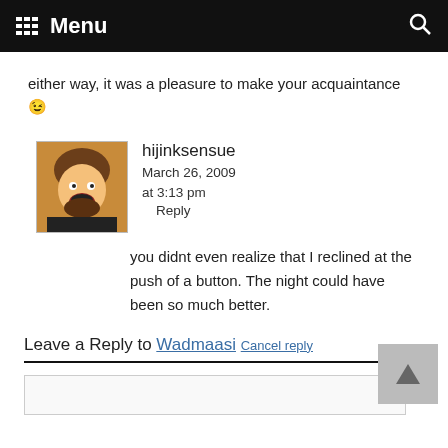Menu
either way, it was a pleasure to make your acquaintance 😉
hijinksensue
March 26, 2009 at 3:13 pm
Reply
you didnt even realize that I reclined at the push of a button. The night could have been so much better.
Leave a Reply to Wadmaasi Cancel reply